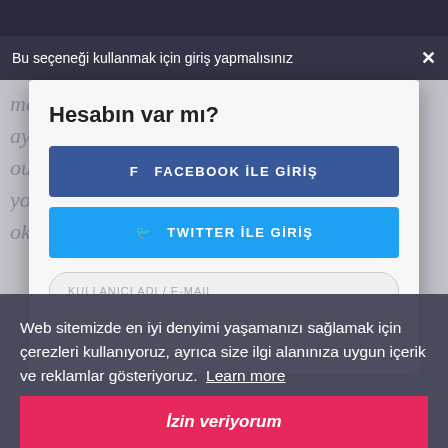Bu seçeneği kullanmak için giriş yapmalısınız ×
Hesabın var mı?
FACEBOOK İLE GİRİŞ
TWITTER İLE GİRİŞ
KULLANICI ADI / E-MAIL
ŞİFRE
Web sitemizde en iyi denyimi yaşamanızı sağlamak için çerezleri kullanıyoruz, ayrıca size ilgi alanınıza uygun içerik ve reklamlar gösteriyoruz.  Learn more
İzin veriyorum
OTURUM AÇ